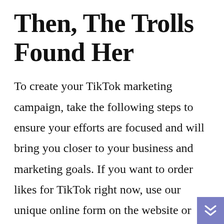Then, The Trolls Found Her
To create your TikTok marketing campaign, take the following steps to ensure your efforts are focused and will bring you closer to your business and marketing goals. If you want to order likes for TikTok right now, use our unique online form on the website or email us if you're going to discuss the creation of a new package that our managers can create especially for you. Usually, we do this when our client needs an extra-large amount of thumbs up or comments, etc. and we always try to discount such a package to make that purchase